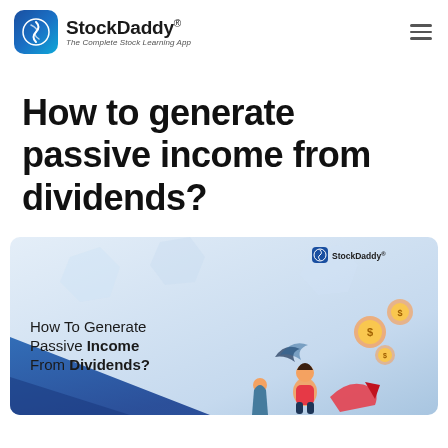StockDaddy® The Complete Stock Learning App
How to generate passive income from dividends?
[Figure (illustration): StockDaddy branded banner image showing text 'How To Generate Passive Income From Dividends?' with decorative financial illustrations including a person, coins, and arrow shapes on a blue and white gradient background. StockDaddy logo in top right corner.]